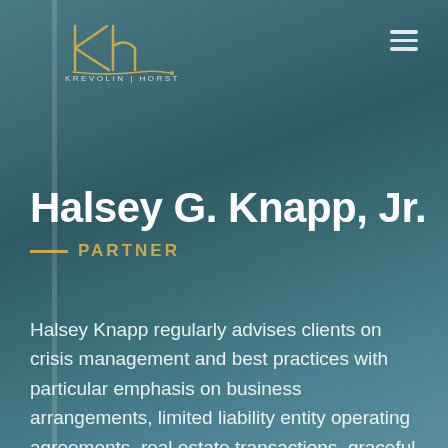[Figure (logo): Krevolin Horst law firm logo with stylized KH initials in gold/yellow and firm name below]
Halsey G. Knapp, Jr.
— PARTNER
Halsey Knapp regularly advises clients on crisis management and best practices with particular emphasis on business arrangements, limited liability entity operating agreements, real estate transactions, graceful employment departures, and more antagonistic, high stakes, “bet the company”